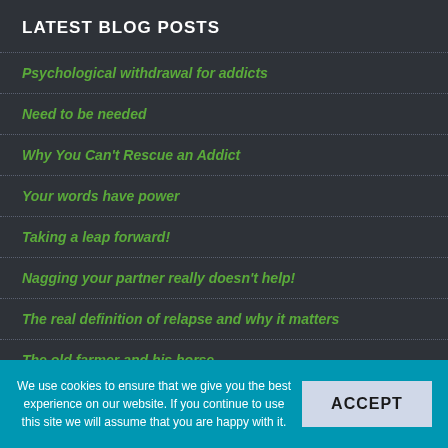LATEST BLOG POSTS
Psychological withdrawal for addicts
Need to be needed
Why You Can't Rescue an Addict
Your words have power
Taking a leap forward!
Nagging your partner really doesn't help!
The real definition of relapse and why it matters
The old farmer and his horse
We use cookies to ensure that we give you the best experience on our website. If you continue to use this site we will assume that you are happy with it.
ACCEPT